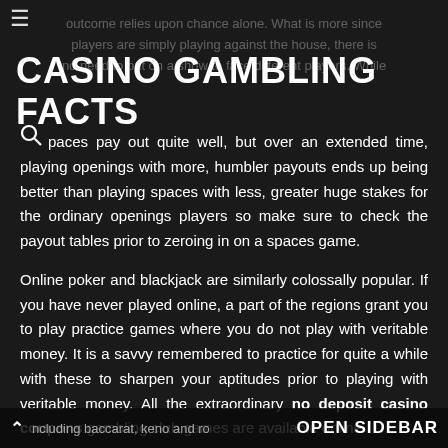≡
CASINO GAMBLING FACTS
Spaces pay out quite well, but over an extended time, playing openings with more, humbler payouts ends up being better than playing spaces with less, greater huge stakes for the ordinary openings players so make sure to check the payout tables prior to zeroing in on a spaces game.
Online poker and blackjack are similarly colossally popular. If you have never played online, a part of the regions grant you to play practice games where you do not play with veritable money. It is a savvy remembered to practice for quite a while with these to sharpen your aptitudes prior to playing with veritable money. All the extraordinary no deposit casino coupons gambling club games are available online
∧ including baccarat, keno and ro... OPEN SIDEBAR